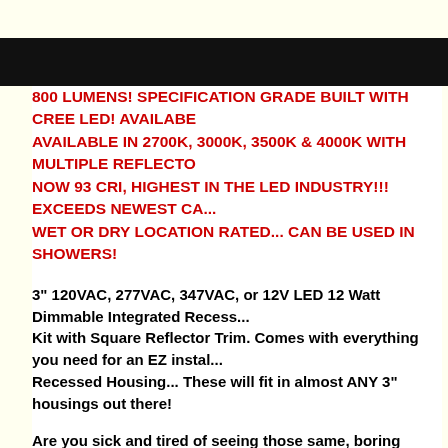800 LUMENS! SPECIFICATION GRADE BUILT WITH CREE LED! AVAILABLE IN 2700K, 3000K, 3500K & 4000K WITH MULTIPLE REFLECTORS! NOW 93 CRI, HIGHEST IN THE LED INDUSTRY!!! EXCEEDS NEWEST CA... WET OR DRY LOCATION RATED... CAN BE USED IN SHOWERS!
3" 120VAC, 277VAC, 347VAC, or 12V LED 12 Watt Dimmable Integrated Recess... Kit with Square Reflector Trim. Comes with everything you need for an EZ instal... Recessed Housing... These will fit in almost ANY 3" housings out there!
Are you sick and tired of seeing those same, boring white plastic looking LED retr... we! That's why we have finally developed our exclusive line of 3" fully integrated... huge savings and bright, beautiful light, but will add beauty and value to any resid... why settle for boring! You definitely won't find these spec grade premiumretrofit... etc!
With these kits, you can select from many different Square Reflector and Trim Ri... only 12 Watts of power with state of the art Premium CREE LED Diodes, these re... Halogen light and puts out a whopping 800 Lumens! This retrofit kit comes com...